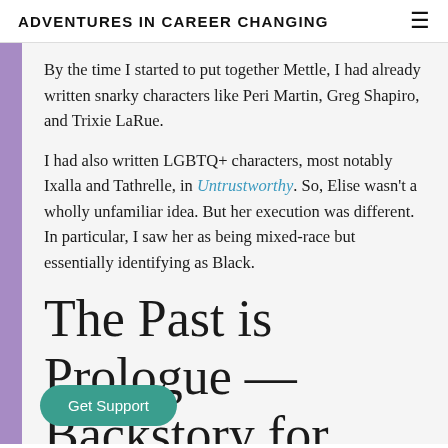ADVENTURES IN CAREER CHANGING
By the time I started to put together Mettle, I had already written snarky characters like Peri Martin, Greg Shapiro, and Trixie LaRue.
I had also written LGBTQ+ characters, most notably Ixalla and Tathrelle, in Untrustworthy. So, Elise wasn't a wholly unfamiliar idea. But her execution was different. In particular, I saw her as being mixed-race but essentially identifying as Black.
The Past is Prologue — Backstory for Elise Series